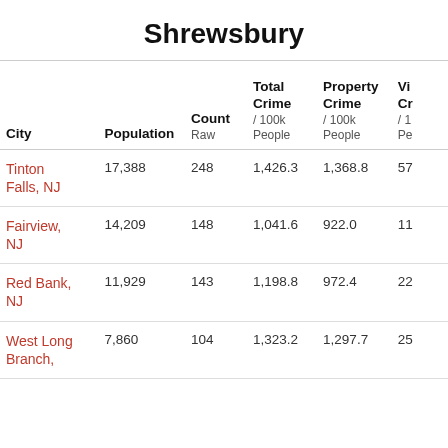Shrewsbury
| City | Population | Count
Raw | Total Crime
/ 100k People | Property Crime
/ 100k People | Violent Crime
/ 100k People |
| --- | --- | --- | --- | --- | --- |
| Tinton Falls, NJ | 17,388 | 248 | 1,426.3 | 1,368.8 | 57... |
| Fairview, NJ | 14,209 | 148 | 1,041.6 | 922.0 | 11... |
| Red Bank, NJ | 11,929 | 143 | 1,198.8 | 972.4 | 22... |
| West Long Branch, | 7,860 | 104 | 1,323.2 | 1,297.7 | 25... |